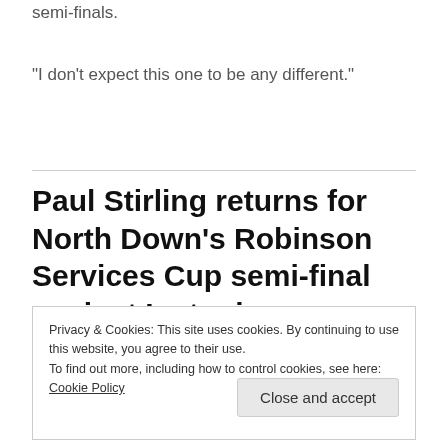semi-finals.
“I don’t expect this one to be any different.”
Paul Stirling returns for North Down’s Robinson Services Cup semi-final against Instonians
Privacy & Cookies: This site uses cookies. By continuing to use this website, you agree to their use.
To find out more, including how to control cookies, see here: Cookie Policy